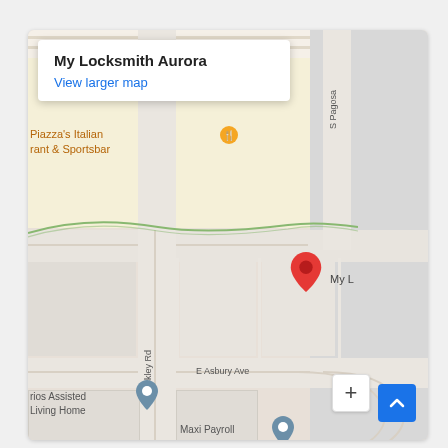[Figure (map): Google Maps screenshot showing the location of My Locksmith Aurora near S Buckley Rd and E Asbury Ave in Aurora, CO. The map shows nearby landmarks including Piazza's Italian Restaurant & Sportsbar, rios Assisted Living Home, and Maxi Payroll. A red location pin marks My Locksmith Aurora. An info popup shows 'My Locksmith Aurora' with a 'View larger map' link. Map controls include a zoom (+) button and a blue scroll-to-top button.]